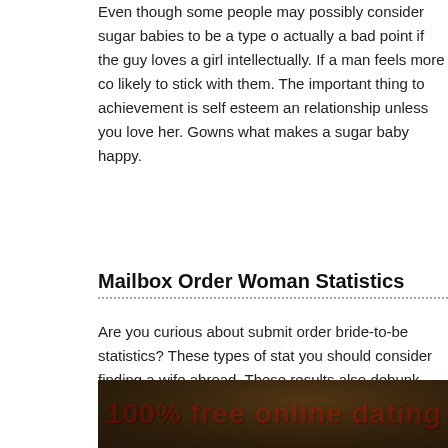Even though some people may possibly consider sugar babies to be a type of actually a bad point if the guy loves a girl intellectually. If a man feels more co likely to stick with them. The important thing to achievement is self esteem an relationship unless you love her. Gowns what makes a sugar baby happy.
Mailbox Order Woman Statistics
Are you curious about submit order bride-to-be statistics? These types of stat you should consider finding a wife abroad. These results also debunk some d dating. Keep reading to learn more. In case you are still unsure whether to us these statistics will help you generate https://highlinksolutionltd.com/2021/09/ strategy decision. Moreover, these shapes will give you regarding the good e.
[Figure (photo): Dark background photo of a person with red bold text overlay reading '100% free online dating']